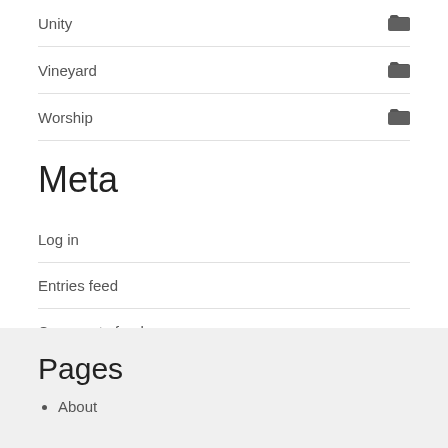Unity
Vineyard
Worship
Meta
Log in
Entries feed
Comments feed
WordPress.org
Pages
About